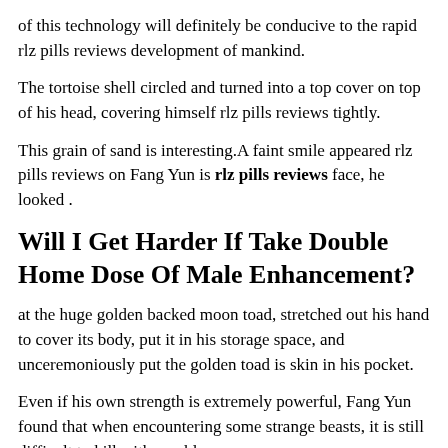of this technology will definitely be conducive to the rapid rlz pills reviews development of mankind.
The tortoise shell circled and turned into a top cover on top of his head, covering himself rlz pills reviews tightly.
This grain of sand is interesting.A faint smile appeared rlz pills reviews on Fang Yun is rlz pills reviews face, he looked .
Will I Get Harder If Take Double Home Dose Of Male Enhancement?
at the huge golden backed moon toad, stretched out his hand to cover its body, put it in his storage space, and unceremoniously put the golden toad is skin in his pocket.
Even if his own strength is extremely powerful, Fang Yun found that when encountering some strange beasts, it is still difficult to kill with one blow.
The seven star crystal mambo 36 pill reviews formation, a total of seven chapters, six of which spewed six torrents and attacked Fang Yun.